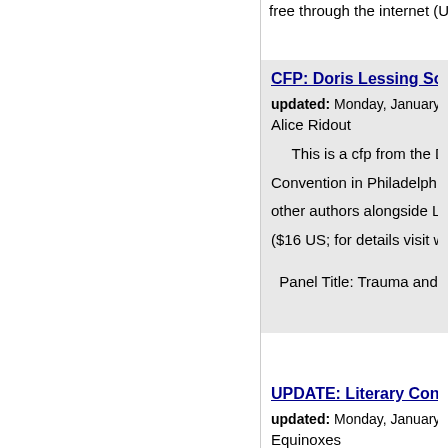free through the internet (UR
CFP: Doris Lessing So
updated: Monday, January 3
Alice Ridout
This is a cfp from the D Convention in Philadelphia fro other authors alongside Lessi ($16 US; for details visit webs
Panel Title: Trauma and the
UPDATE: Literary Con
updated: Monday, January 3
Equinoxes